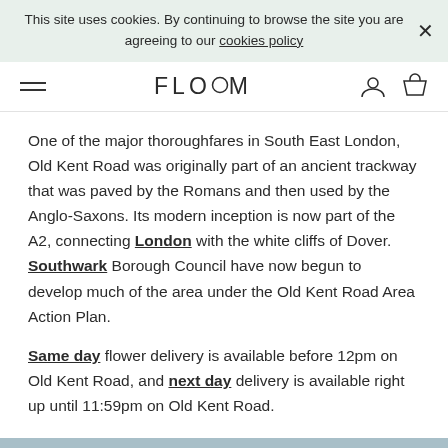This site uses cookies. By continuing to browse the site you are agreeing to our cookies policy ×
FLOOM
One of the major thoroughfares in South East London, Old Kent Road was originally part of an ancient trackway that was paved by the Romans and then used by the Anglo-Saxons. Its modern inception is now part of the A2, connecting London with the white cliffs of Dover. Southwark Borough Council have now begun to develop much of the area under the Old Kent Road Area Action Plan.
Same day flower delivery is available before 12pm on Old Kent Road, and next day delivery is available right up until 11:59pm on Old Kent Road.